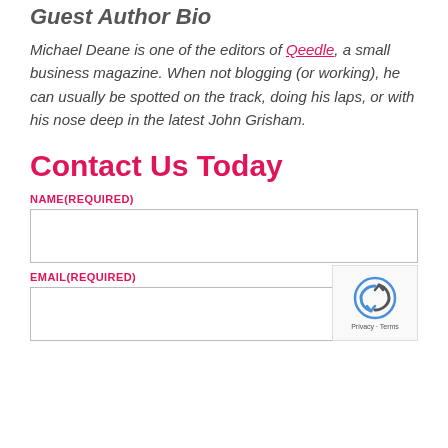Guest Author Bio
Michael Deane is one of the editors of Qeedle, a small business magazine. When not blogging (or working), he can usually be spotted on the track, doing his laps, or with his nose deep in the latest John Grisham.
Contact Us Today
NAME(REQUIRED)
EMAIL(REQUIRED)